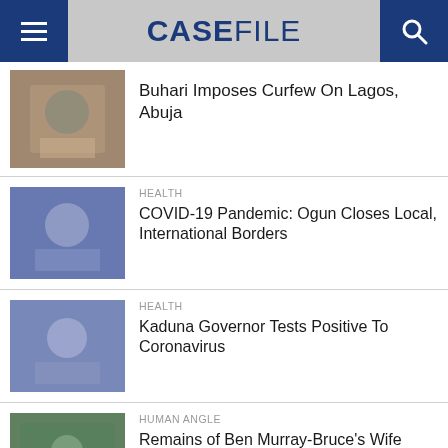CASEFILE
Buhari Imposes Curfew On Lagos, Abuja
HEALTH
COVID-19 Pandemic: Ogun Closes Local, International Borders
HEALTH
Kaduna Governor Tests Positive To Coronavirus
HUMAN ANGLE
Remains of Ben Murray-Bruce's Wife Buried In U.S